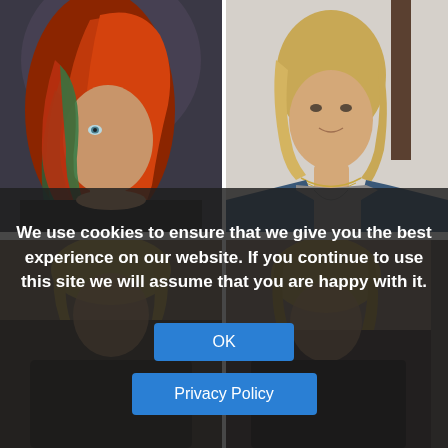[Figure (photo): Woman with colorful red/orange/teal layered bob hairstyle, wearing a black sheer top, against a dark background]
[Figure (photo): Blonde woman with short bob haircut wearing a blue jacket over grey t-shirt and layered necklaces, against a light background]
[Figure (photo): Partially visible photo of a blonde woman in dark clothing, darker moody setting]
[Figure (photo): Partially visible photo of a woman with blonde hair in a dark moody setting]
We use cookies to ensure that we give you the best experience on our website. If you continue to use this site we will assume that you are happy with it.
OK
Privacy Policy